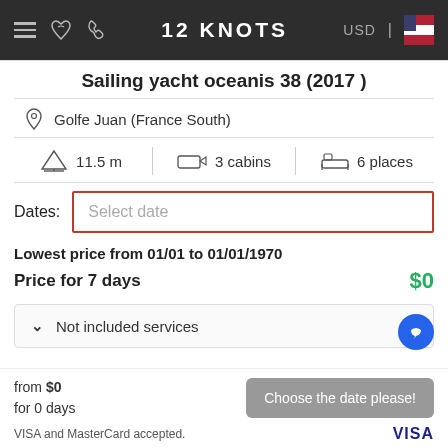12 KNOTS | USD
Sailing yacht oceanis 38 (2017 )
Golfe Juan (France South)
11.5 m | 3 cabins | 6 places
Dates: Select date
Lowest price from 01/01 to 01/01/1970
Price for 7 days $0
Not included services
from $0 for 0 days
Choose the date please!
VISA and MasterCard accepted. VISA